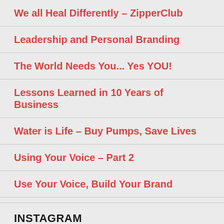We all Heal Differently – ZipperClub
Leadership and Personal Branding
The World Needs You... Yes YOU!
Lessons Learned in 10 Years of Business
Water is Life – Buy Pumps, Save Lives
Using Your Voice – Part 2
Use Your Voice, Build Your Brand
INSTAGRAM